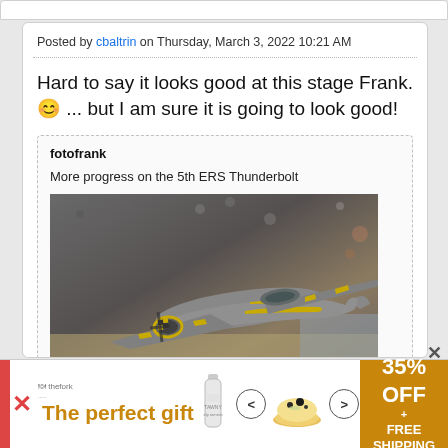Posted by cbaltrin on Thursday, March 3, 2022 10:21 AM
Hard to say it looks good at this stage Frank. 😊 ... but I am sure it is going to look good!
fotofrank
More progress on the 5th ERS Thunderbolt
[Figure (photo): Model airplane (P-47 Thunderbolt) painted in grey and yellow markings displayed on a diorama base]
[Figure (infographic): Advertisement banner: The perfect gift - 35% OFF + FREE SHIPPING with food/drink product images]